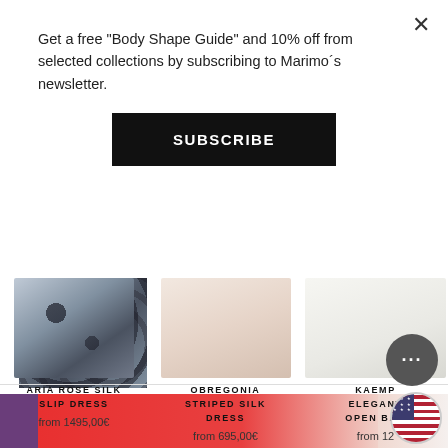Get a free "Body Shape Guide" and 10% off from selected collections by subscribing to Marimo´s newsletter.
SUBSCRIBE
[Figure (photo): Product image of Aria Rose Silk Slip Dress - dark floral pattern]
ARIA ROSE SILK SLIP DRESS
from 1495,00€
[Figure (photo): Product image of Obregonia Striped Silk Dress - light pink/cream color]
OBREGONIA STRIPED SILK DRESS
from 695,00€
★★★★½ 1 review
[Figure (photo): Partial product image of Kaempferia Elegant Open Back dress - white/light color]
KAEMP ELEGANT OPEN BAC
from 12
[Figure (photo): Bottom banner showing colored fabric swatches in purple, red/coral, and white]
[Figure (other): Chat support button with ellipsis icon]
[Figure (other): US flag badge/country selector]